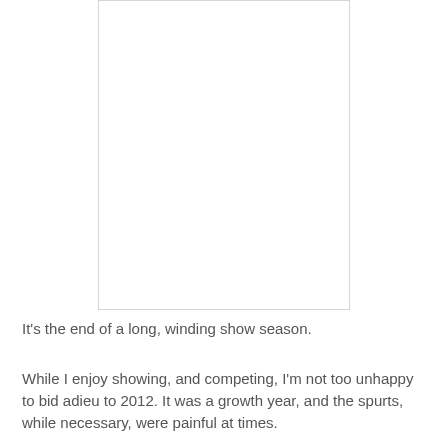[Figure (other): A blank white rectangular image placeholder with a light gray border]
It's the end of a long, winding show season.
While I enjoy showing, and competing, I'm not too unhappy to bid adieu to 2012. It was a growth year, and the spurts, while necessary, were painful at times.